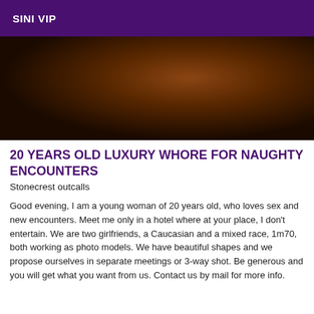SINI VIP
[Figure (photo): Close-up dark photo showing hair and shoulder/neck area of a person with long dark hair against a dark background with warm amber/brown tones]
20 YEARS OLD LUXURY WHORE FOR NAUGHTY ENCOUNTERS
Stonecrest outcalls
Good evening, I am a young woman of 20 years old, who loves sex and new encounters. Meet me only in a hotel where at your place, I don't entertain. We are two girlfriends, a Caucasian and a mixed race, 1m70, both working as photo models. We have beautiful shapes and we propose ourselves in separate meetings or 3-way shot. Be generous and you will get what you want from us. Contact us by mail for more info.